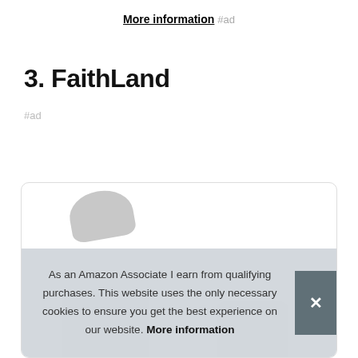More information #ad
3. FaithLand
#ad
[Figure (photo): Partial product photo inside a rounded-corner card, showing gray shapes suggesting a product image]
As an Amazon Associate I earn from qualifying purchases. This website uses the only necessary cookies to ensure you get the best experience on our website. More information